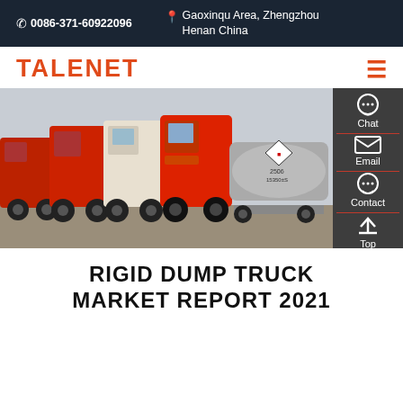0086-371-60922096  |  Gaoxinqu Area, Zhengzhou Henan China
TALENET
[Figure (photo): Row of red and white heavy-duty trucks parked in a lot, with a side panel showing Chat, Email, Contact, and Top navigation icons on the right side.]
RIGID DUMP TRUCK MARKET REPORT 2021